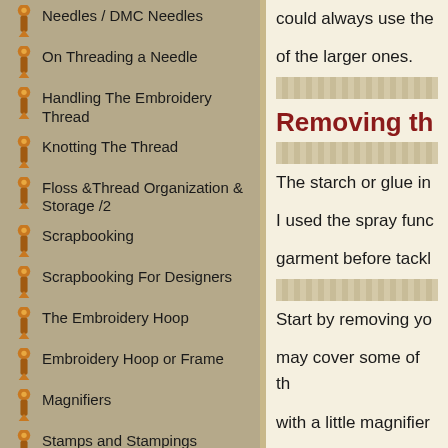Needles / DMC Needles
On Threading a Needle
Handling The Embroidery Thread
Knotting The Thread
Floss &Thread Organization & Storage /2
Scrapbooking
Scrapbooking For Designers
The Embroidery Hoop
Embroidery Hoop or Frame
Magnifiers
Stamps and Stampings
Macramé
Guide To Macramé
Macramé. Video tutorials
could always use the
of the larger ones.
Removing th
The starch or glue in
I used the spray func
garment before tackl
Start by removing yo
may cover some of th
with a little magnifier